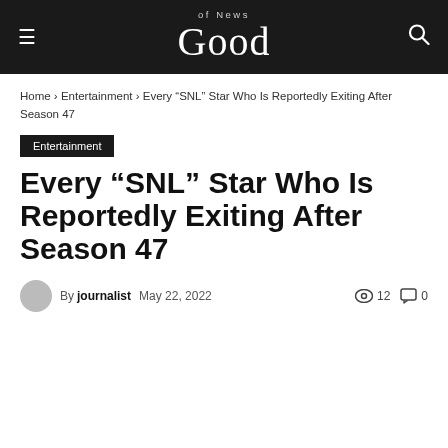Good of News
Home › Entertainment › Every “SNL” Star Who Is Reportedly Exiting After Season 47
Entertainment
Every “SNL” Star Who Is Reportedly Exiting After Season 47
By journalist  May 22, 2022  12  0